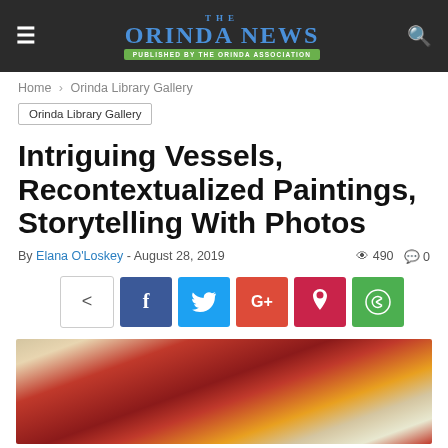The Orinda News — Published by the Orinda Association
Home › Orinda Library Gallery
Orinda Library Gallery
Intriguing Vessels, Recontextualized Paintings, Storytelling With Photos
By Elana O'Loskey - August 28, 2019  490  0
[Figure (screenshot): Social share buttons: share icon, Facebook, Twitter, Google+, Pinterest, WhatsApp]
[Figure (photo): Partial photo of a painting showing a figure with red hair on a textured background with orange, red, and cream tones]